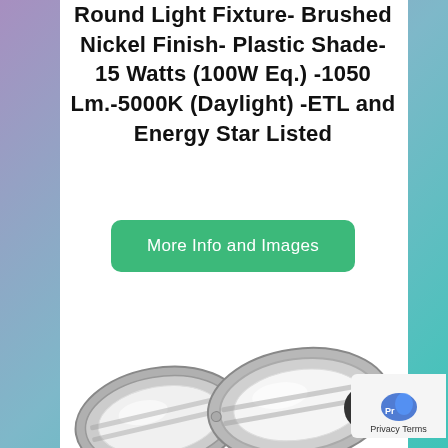Round Light Fixture- Brushed Nickel Finish- Plastic Shade-15 Watts (100W Eq.) -1050 Lm.-5000K (Daylight) -ETL and Energy Star Listed
More Info and Images
[Figure (photo): Two oval/round brushed nickel LED light fixtures with white plastic shades, viewed from an angle, showing the metallic frame and diffuser.]